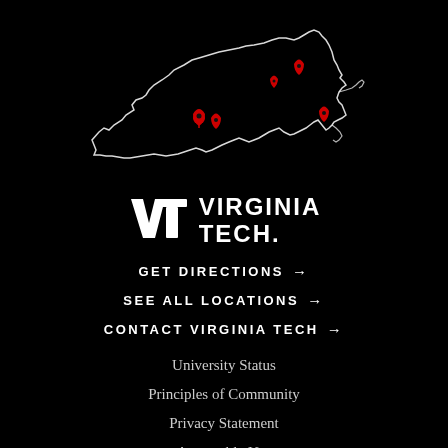[Figure (map): Outline map of Virginia state with red location pins marking multiple Virginia Tech campus locations]
[Figure (logo): Virginia Tech logo with VT monogram and VIRGINIA TECH text in white on black background]
GET DIRECTIONS →
SEE ALL LOCATIONS →
CONTACT VIRGINIA TECH →
University Status
Principles of Community
Privacy Statement
Acceptable Use
🎗 We Remember
University Libraries